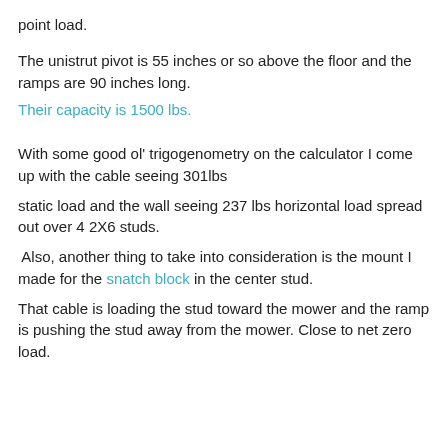point load.
The unistrut pivot is 55 inches or so above the floor and the ramps are 90 inches long.
Their capacity is 1500 lbs.
With some good ol' trigogenometry on the calculator I come up with the cable seeing 301lbs
static load and the wall seeing 237 lbs horizontal load spread out over 4 2X6 studs.
Also, another thing to take into consideration is the mount I made for the snatch block in the center stud.
That cable is loading the stud toward the mower and the ramp is pushing the stud away from the mower. Close to net zero load.